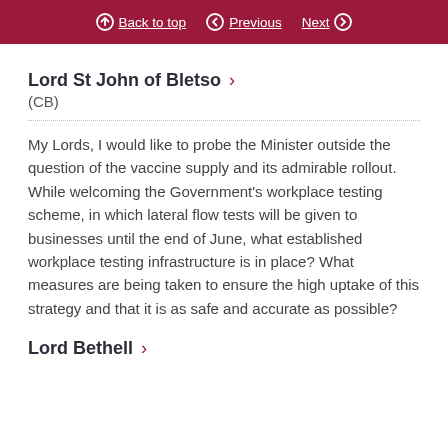Back to top   Previous   Next
Lord St John of Bletso
(CB)
My Lords, I would like to probe the Minister outside the question of the vaccine supply and its admirable rollout. While welcoming the Government’s workplace testing scheme, in which lateral flow tests will be given to businesses until the end of June, what established workplace testing infrastructure is in place? What measures are being taken to ensure the high uptake of this strategy and that it is as safe and accurate as possible?
Lord Bethell